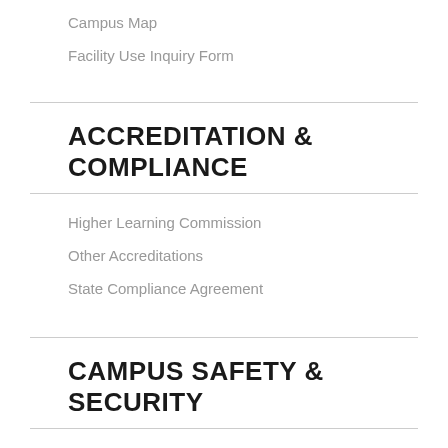Campus Map
Facility Use Inquiry Form
ACCREDITATION & COMPLIANCE
Higher Learning Commission
Other Accreditations
State Compliance Agreement
CAMPUS SAFETY & SECURITY
Campus Safety and Policies
Emergency Notification System
Reports and Programs
Report a Incident